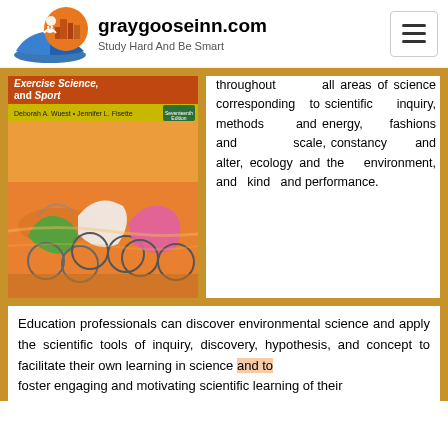graygooseinn.com – Study Hard And Be Smart
[Figure (photo): Book cover: Exercise Science, and Sport by Deborah A. Wuest and Jennifer L. Fisette, Seventeenth Edition]
throughout all areas of science corresponding to scientific inquiry, methods and energy, fashions and scale, constancy and alter, ecology and the environment, and kind and performance.
Education professionals can discover environmental science and apply the scientific tools of inquiry, discovery, hypothesis, and concept to facilitate their own learning in science and to foster engaging and motivating scientific learning of their